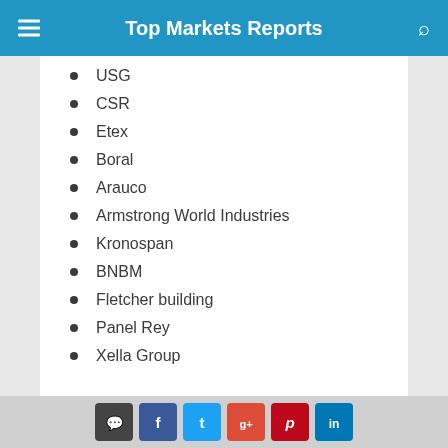Top Markets Reports
USG
CSR
Etex
Boral
Arauco
Armstrong World Industries
Kronospan
BNBM
Fletcher building
Panel Rey
Xella Group
Social share buttons: chat, Facebook, Twitter, Google+, Pinterest, LinkedIn